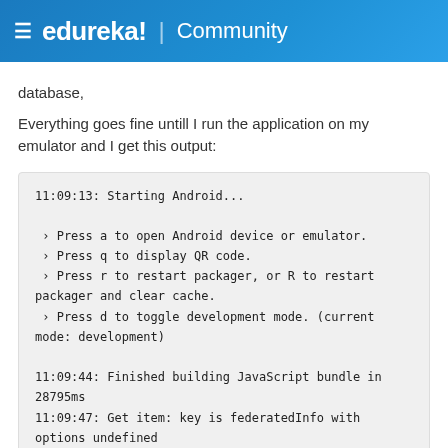≡ edureka! | Community
database,
Everything goes fine untill I run the application on my emulator and I get this output:
11:09:13: Starting Android...

 › Press a to open Android device or emulator.
 › Press q to display QR code.
 › Press r to restart packager, or R to restart packager and clear cache.
 › Press d to toggle development mode. (current mode: development)

11:09:44: Finished building JavaScript bundle in 28795ms
11:09:47: Get item: key is federatedInfo with options undefined